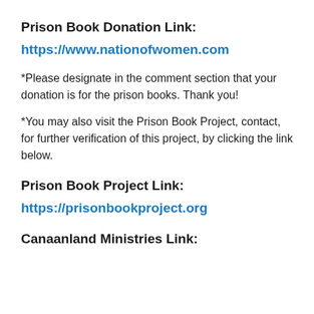Prison Book Donation Link:
https://www.nationofwomen.com
*Please designate in the comment section that your donation is for the prison books. Thank you!
*You may also visit the Prison Book Project, contact, for further verification of this project, by clicking the link below.
Prison Book Project Link:
https://prisonbookproject.org
Canaanland Ministries Link: